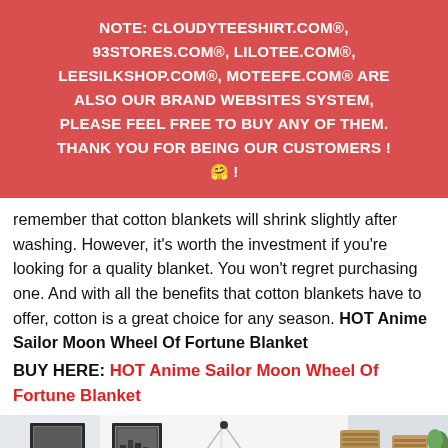NOTE: CLOUDYTEESHIRT.COM®, 93STORES.COM®, LILOTEE.COM®, LEESILKSHOP.COM®, MOTEEFE.COM® ARE ALSO OUR BRAND WEBSITES SYSTEM, PLEASE FEEL FREE TO BUY ANY OF THEM. THANK YOU FOR BEING OUR CUSTOMERS ! 🤗 !
remember that cotton blankets will shrink slightly after washing. However, it's worth the investment if you're looking for a quality blanket. You won't regret purchasing one. And with all the benefits that cotton blankets have to offer, cotton is a great choice for any season. HOT Anime Sailor Moon Wheel Of Fortune Blanket
BUY HERE: HOT Anime Sailor Moon Wheel Of Fortune Blanket
[Figure (photo): Product photo showing a folded blanket with anime Sailor Moon design on a bed/shelf setting, with framed pictures and wicker baskets visible in the background]